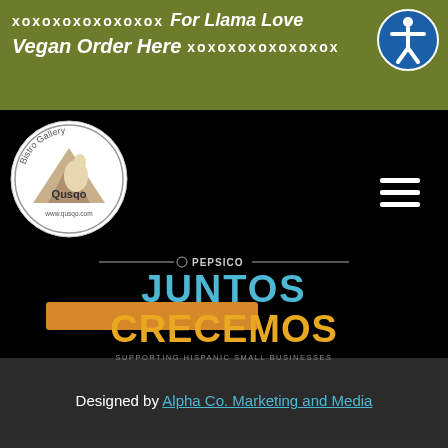xoxoxoxoxoxoxox   For Llama Love   Vegan Order Here   xoxoxoxoxoxoxox
[Figure (logo): Qusqo Bistro Gallery circular logo with llama and mountain image, www.qusqo.com]
[Figure (illustration): Hamburger menu icon (three white lines) on black background]
[Figure (illustration): Orange/amber rectangular button]
[Figure (logo): PepsiCo Juntos Crecemos logo - Supporting Hispanic Small Businesses]
Designed by Alpha Co. Marketing and Media